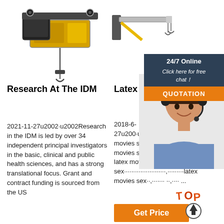[Figure (photo): Yellow and black electric hoist/crane unit on left side]
[Figure (photo): Yellow jib crane arm on right side with chat overlay showing 24/7 Online support and woman with headset]
Research At The IDM
2021-11-27u2002·u2002Research in the IDM is led by over 34 independent principal investigators in the basic, clinical and public health sciences, and has a strong translational focus. Grant and contract funding is sourced from the US
Latex Sex - C
2018-6-27u200... latex movies sex, latex movies sex, latex movies sex, latex movies sex, latex movies sex ...
[Figure (infographic): TOP badge with upward arrow circle icon]
[Figure (infographic): Get Price button in orange]